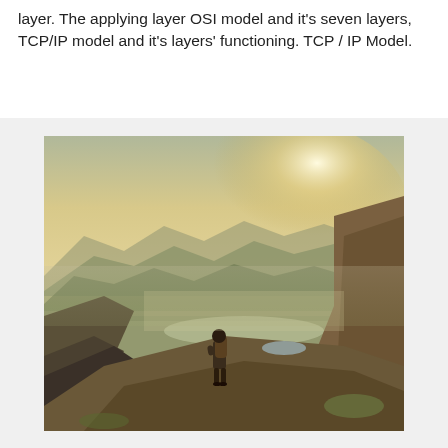layer. The applying layer OSI model and it's seven layers, TCP/IP model and it's layers' functioning. TCP / IP Model.
[Figure (photo): A hiker with a backpack standing on a rocky mountain ridge, looking out over a vast misty mountain valley with warm golden sunlight.]